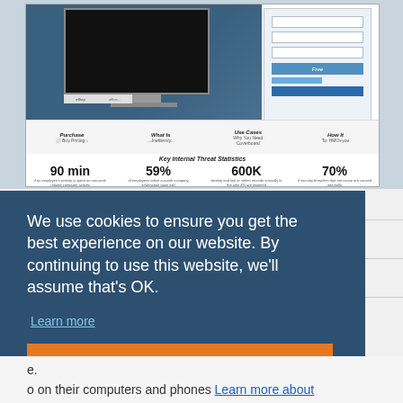[Figure (screenshot): Screenshot of a website showing a security/insider threat product page with a monitor graphic on a blue background, a login/form panel on the right, navigation bar with Purchase, What Is, Use Cases, How It sections, and Key Internal Threat Statistics showing 90 min, 59%, 600K, 70%.]
We use cookies to ensure you get the best experience on our website. By continuing to use this website, we'll assume that's OK.
Learn more
OK
o on their computers and phones Learn more about